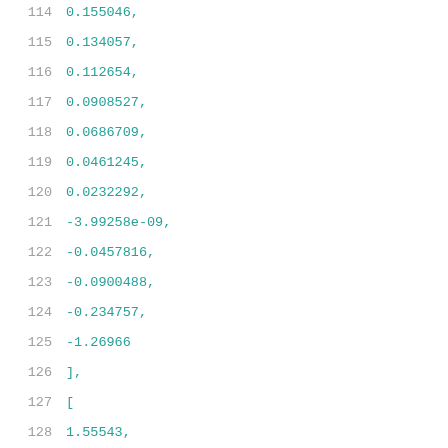114    0.155046,
115    0.134057,
116    0.112654,
117    0.0908527,
118    0.0686709,
119    0.0461245,
120    0.0232292,
121    -3.99258e-09,
122    -0.0457816,
123    -0.0900488,
124    -0.234757,
125    -1.26966
126    ],
127    [
128    1.55543,
129    0.393921,
130    0.363733,
131    0.352475,
132    0.339743,
133    0.33255,
134    0.32458,
135    0.315619,